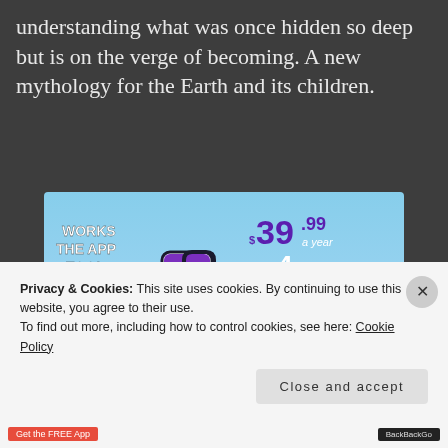understanding what was once hidden so deep but is on the verge of becoming. A new mythology for the Earth and its children.
[Figure (screenshot): Advertisement for a service showing a stylized letter 't' logo with yellow sparkles on a blue sky background. Text reads: 'WORKS THE APP TOO!' on the left, and '$39.99 a year or $4.99 a month + FREE SHIPPING' on the right in purple and white text.]
Privacy & Cookies: This site uses cookies. By continuing to use this website, you agree to their use.
To find out more, including how to control cookies, see here: Cookie Policy
Close and accept